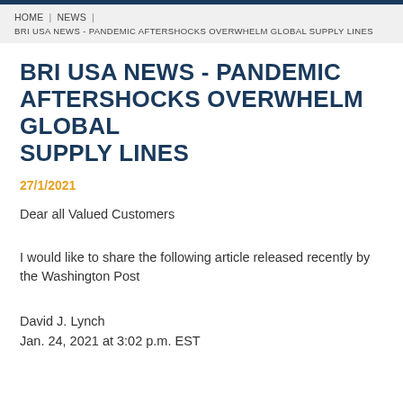HOME | NEWS | BRI USA NEWS - PANDEMIC AFTERSHOCKS OVERWHELM GLOBAL SUPPLY LINES
BRI USA NEWS - PANDEMIC AFTERSHOCKS OVERWHELM GLOBAL SUPPLY LINES
27/1/2021
Dear all Valued Customers
I would like to share the following article released recently by the Washington Post
David J. Lynch
Jan. 24, 2021 at 3:02 p.m. EST